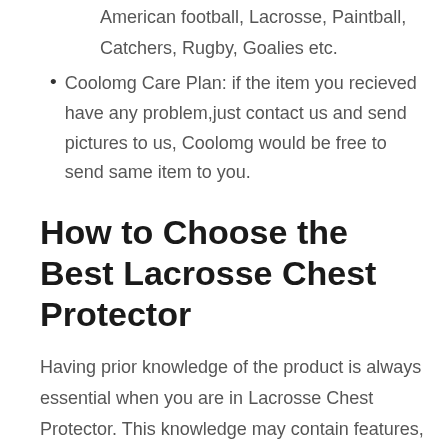American football, Lacrosse, Paintball, Catchers, Rugby, Goalies etc.
Coolomg Care Plan: if the item you recieved have any problem,just contact us and send pictures to us, Coolomg would be free to send same item to you.
How to Choose the Best Lacrosse Chest Protector
Having prior knowledge of the product is always essential when you are in Lacrosse Chest Protector. This knowledge may contain features, pros and cons, and other performance controlling factors. Thus, we suggest you know the pricing level of the product compared to its usefulness for a happy purchase.
Without proper research and comparison, you alone may waste your valuable time. But we have already completed the study and comparison to help you save time for other chores. You can buy